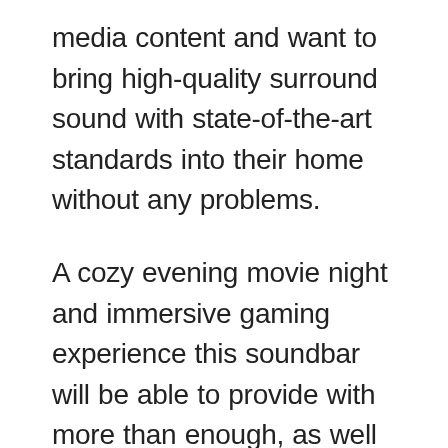media content and want to bring high-quality surround sound with state-of-the-art standards into their home without any problems.
A cozy evening movie night and immersive gaming experience this soundbar will be able to provide with more than enough, as well as to please people gathered for a noisy party.
In addition, in tandem with other devices of the manufacturer Samsung HW-Q900A will become a wonderful addition for